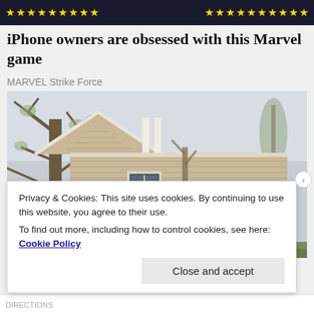[Figure (screenshot): Dark banner with gold star ratings on left and right sides, advertising a Marvel mobile game]
iPhone owners are obsessed with this Marvel game
MARVEL Strike Force
[Figure (photo): Exterior photo of a beige/tan vinyl-sided house with a gabled roof, windows with shutters, and bare trees in the background]
Privacy & Cookies: This site uses cookies. By continuing to use this website, you agree to their use.
To find out more, including how to control cookies, see here: Cookie Policy
Close and accept